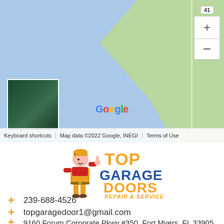[Figure (map): Google Maps screenshot showing coastal area near Fort Myers, FL with water (blue) and land (green) areas. Includes satellite thumbnail, zoom controls (+/-), Google logo, and map attribution bar reading 'Keyboard shortcuts | Map data ©2022 Google, INEGI | Terms of Use'.]
[Figure (logo): Top Garage Doors Repair & Service logo featuring a cartoon technician in yellow overalls and red shirt giving a thumbs up, with bold orange text 'TOP', blue text 'GARAGE DOORS', and orange italic text 'REPAIR & SERVICE'.]
+ 239-688-4526
+ topgaragedoor1@gmail.com
+ 9160 Forum Corporate Pkwy #350, Fort Myers, FL 33905